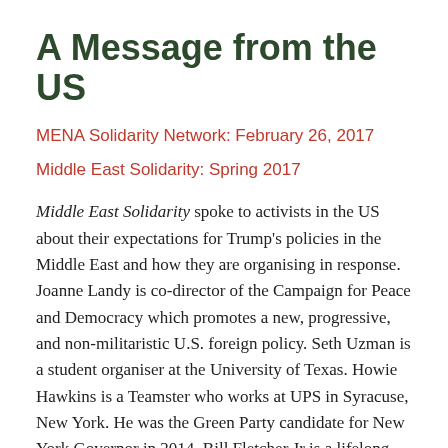A Message from the US
MENA Solidarity Network: February 26, 2017
Middle East Solidarity: Spring 2017
Middle East Solidarity spoke to activists in the US about their expectations for Trump's policies in the Middle East and how they are organising in response. Joanne Landy is co-director of the Campaign for Peace and Democracy which promotes a new, progressive, and non-militaristic U.S. foreign policy. Seth Uzman is a student organiser at the University of Texas. Howie Hawkins is a Teamster who works at UPS in Syracuse, New York. He was the Green Party candidate for New York Governor in 2014. Bill Fletcher Jr is a lifelong activist with several unions. Andrew Pollack